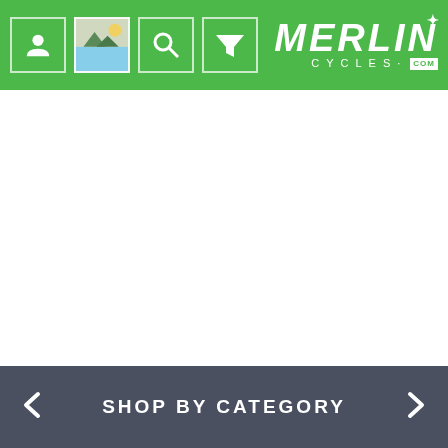Merlin Cycles navigation header with user, image, search, and filter icons and Merlin Cycles .com logo
[Figure (screenshot): White blank content area below navigation header]
SHOP BY CATEGORY